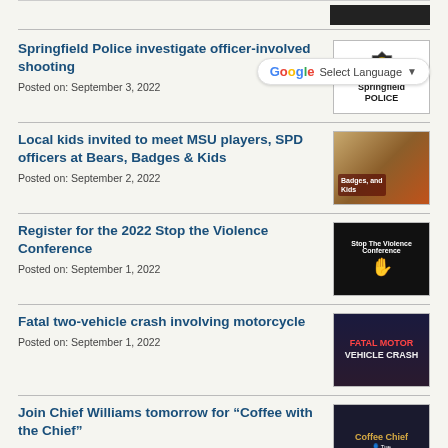Springfield Police investigate officer-involved shooting
Posted on: September 3, 2022
Local kids invited to meet MSU players, SPD officers at Bears, Badges & Kids
Posted on: September 2, 2022
Register for the 2022 Stop the Violence Conference
Posted on: September 1, 2022
Fatal two-vehicle crash involving motorcycle
Posted on: September 1, 2022
Join Chief Williams tomorrow for "Coffee with the Chief"